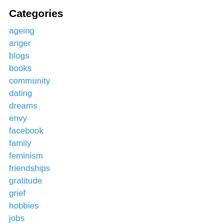Categories
ageing
anger
blogs
books
community
dating
dreams
envy
facebook
family
feminism
friendships
gratitude
grief
hobbies
jobs
loneliness
marriage